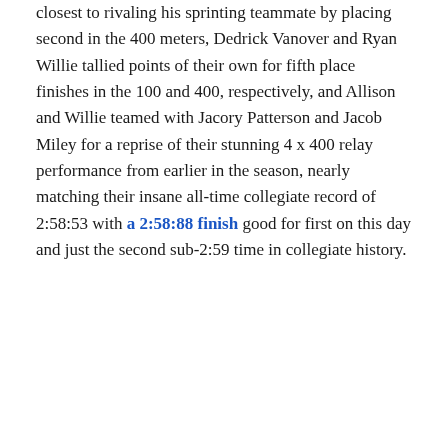closest to rivaling his sprinting teammate by placing second in the 400 meters, Dedrick Vanover and Ryan Willie tallied points of their own for fifth place finishes in the 100 and 400, respectively, and Allison and Willie teamed with Jacory Patterson and Jacob Miley for a reprise of their stunning 4 x 400 relay performance from earlier in the season, nearly matching their insane all-time collegiate record of 2:58:53 with a 2:58:88 finish good for first on this day and just the second sub-2:59 time in collegiate history.
[Figure (photo): Advertisement placeholder box labeled AD, followed by a photo of a young man standing in front of a building with blue-tinted glass windows]